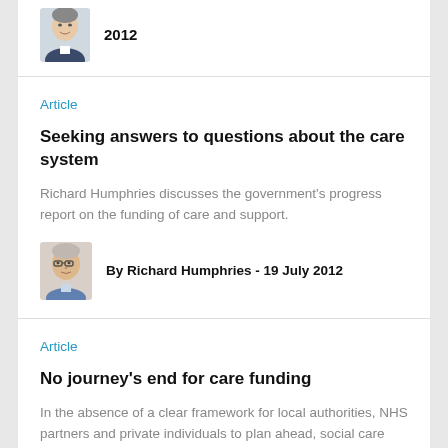[Figure (photo): Author headshot - partial, cropped at top of page]
2012
Article
Seeking answers to questions about the care system
Richard Humphries discusses the government's progress report on the funding of care and support.
[Figure (photo): Headshot of Richard Humphries - man with glasses]
By Richard Humphries - 19 July 2012
Article
No journey's end for care funding
In the absence of a clear framework for local authorities, NHS partners and private individuals to plan ahead, social care funding pressures will only get worse.